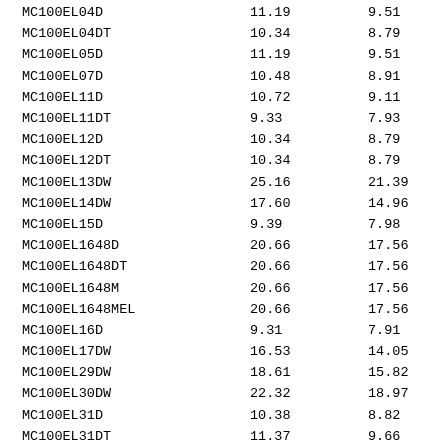| MC100EL04D | 11.19 | 9.51 |
| MC100EL04DT | 10.34 | 8.79 |
| MC100EL05D | 11.19 | 9.51 |
| MC100EL07D | 10.48 | 8.91 |
| MC100EL11D | 10.72 | 9.11 |
| MC100EL11DT | 9.33 | 7.93 |
| MC100EL12D | 10.34 | 8.79 |
| MC100EL12DT | 10.34 | 8.79 |
| MC100EL13DW | 25.16 | 21.39 |
| MC100EL14DW | 17.60 | 14.96 |
| MC100EL15D | 9.39 | 7.98 |
| MC100EL1648D | 20.66 | 17.56 |
| MC100EL1648DT | 20.66 | 17.56 |
| MC100EL1648M | 20.66 | 17.56 |
| MC100EL1648MEL | 20.66 | 17.56 |
| MC100EL16D | 9.31 | 7.91 |
| MC100EL17DW | 16.53 | 14.05 |
| MC100EL29DW | 18.61 | 15.82 |
| MC100EL30DW | 22.32 | 18.97 |
| MC100EL31D | 10.38 | 8.82 |
| MC100EL31DT | 11.37 | 9.66 |
| MC100EL32D | 11.69 | 9.94 |